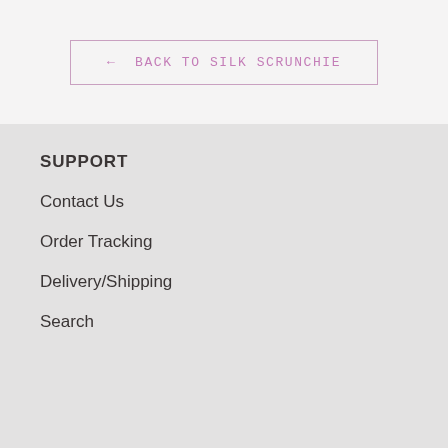← BACK TO SILK SCRUNCHIE
SUPPORT
Contact Us
Order Tracking
Delivery/Shipping
Search